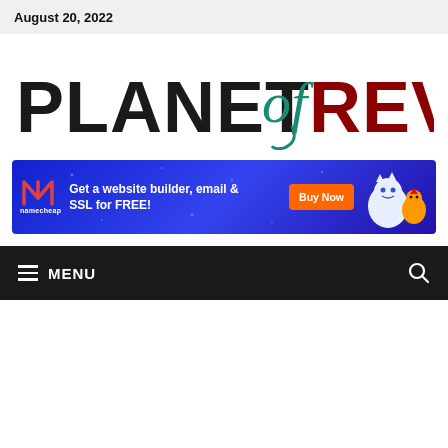August 20, 2022
[Figure (logo): Planet of Reviews logo - PLANET in grunge black letters, 'of' in teal cursive script, REVIEWS in bold dark red letters]
[Figure (infographic): Namecheap advertisement banner: blue background, Namecheap logo on left, text 'Get a website builder, email & SSL for FREE!', orange 'Buy Now' button, cartoon yeti and chicken mascots on right]
MENU